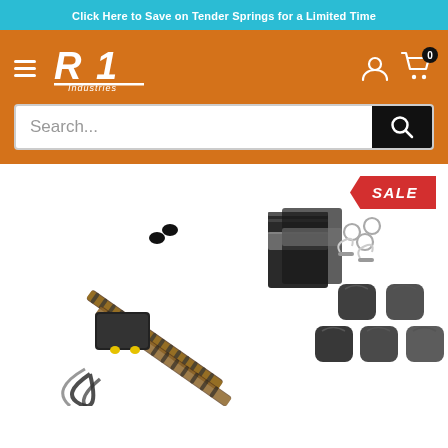Click Here to Save on Tender Springs for a Limited Time
[Figure (logo): RL Industries logo in white italic text on orange background with hamburger menu icon]
[Figure (screenshot): Search bar with placeholder text 'Search...' and black search button with magnifying glass icon]
[Figure (photo): Product photo showing LED light strips, wiring harness, protective sleeves, mounting hardware, and small black bags/covers on white background with red SALE badge in top right corner]